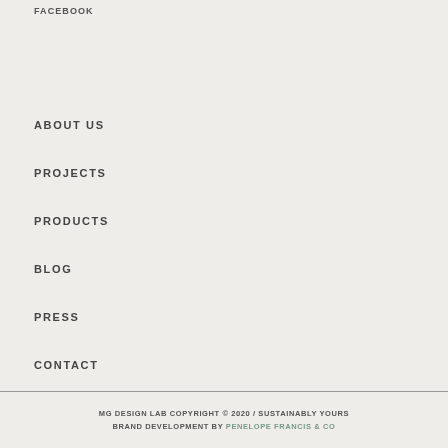FACEBOOK
ABOUT US
PROJECTS
PRODUCTS
BLOG
PRESS
CONTACT
MG DESIGN LAB COPYRIGHT © 2020 / SUSTAINABLY YOURS BRAND DEVELOPMENT BY PENELOPE FRANCIS & CO